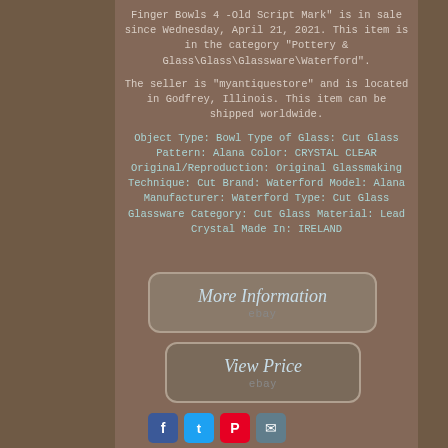Finger Bowls 4 -Old Script Mark" is in sale since Wednesday, April 21, 2021. This item is in the category "Pottery & Glass\Glass\Glassware\Waterford".
The seller is "myantiquestore" and is located in Godfrey, Illinois. This item can be shipped worldwide.
Object Type: Bowl Type of Glass: Cut Glass Pattern: Alana Color: CRYSTAL CLEAR Original/Reproduction: Original Glassmaking Technique: Cut Brand: Waterford Model: Alana Manufacturer: Waterford Type: Cut Glass Glassware Category: Cut Glass Material: Lead Crystal Made In: IRELAND
[Figure (other): Button linking to More Information on eBay]
[Figure (other): Button linking to View Price on eBay]
[Figure (other): Social sharing icons: Facebook, Twitter, Pinterest, Email]